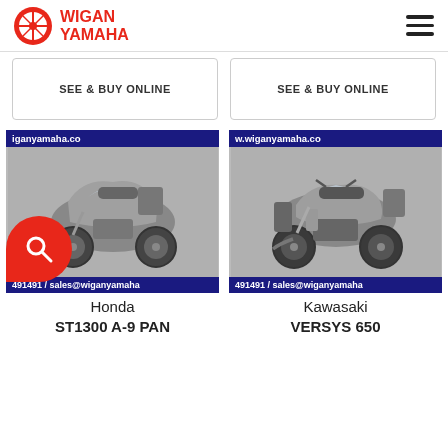WIGAN YAMAHA
SEE & BUY ONLINE
SEE & BUY ONLINE
[Figure (photo): Silver Honda ST1300 A-9 PAN motorcycle, side view, with wiganyamaha.co banner]
[Figure (photo): Silver Kawasaki VERSYS 650 motorcycle, side view, with wiganyamaha.co banner]
Honda
ST1300 A-9 PAN
Kawasaki
VERSYS 650